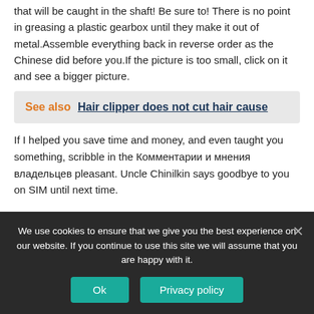that will be caught in the shaft! Be sure to! There is no point in greasing a plastic gearbox until they make it out of metal.Assemble everything back in reverse order as the Chinese did before you.If the picture is too small, click on it and see a bigger picture.
See also  Hair clipper does not cut hair cause
If I helped you save time and money, and even taught you something, scribble in the Комментарии и мнения владельцев pleasant. Uncle Chinilkin says goodbye to you on SIM until next time.
We use cookies to ensure that we give you the best experience on our website. If you continue to use this site we will assume that you are happy with it. Ok  Privacy policy